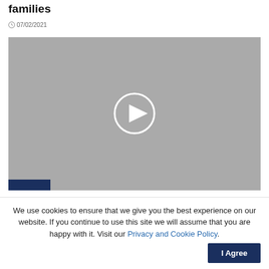families
07/02/2021
[Figure (screenshot): Video player placeholder with grey background and white circular play button in the center. A dark navy rectangle is visible at the bottom left corner.]
We use cookies to ensure that we give you the best experience on our website. If you continue to use this site we will assume that you are happy with it. Visit our Privacy and Cookie Policy.